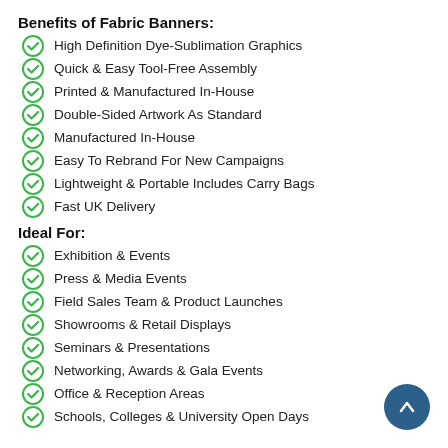Benefits of Fabric Banners:
High Definition Dye-Sublimation Graphics
Quick & Easy Tool-Free Assembly
Printed & Manufactured In-House
Double-Sided Artwork As Standard
Manufactured In-House
Easy To Rebrand For New Campaigns
Lightweight & Portable Includes Carry Bags
Fast UK Delivery
Ideal For:
Exhibition & Events
Press & Media Events
Field Sales Team & Product Launches
Showrooms & Retail Displays
Seminars & Presentations
Networking, Awards & Gala Events
Office & Reception Areas
Schools, Colleges & University Open Days